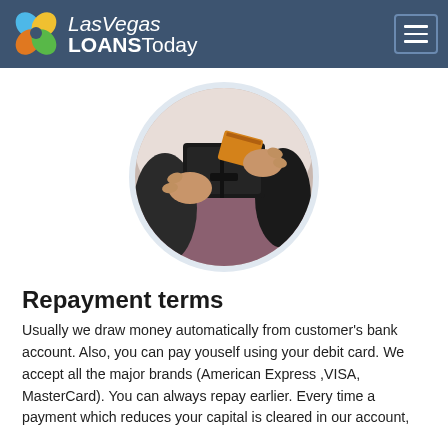Las Vegas LOANSToday
[Figure (photo): Circular cropped photo of hands holding a black wallet and pulling out a credit card]
Repayment terms
Usually we draw money automatically from customer's bank account. Also, you can pay youself using your debit card. We accept all the major brands (American Express ,VISA, MasterCard). You can always repay earlier. Every time a payment which reduces your capital is cleared in our account, the interest automatically adjusts.